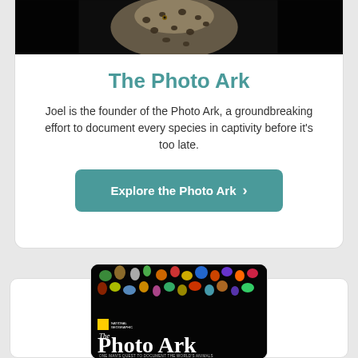[Figure (photo): Photo of a cheetah against dark background, cropped to show spotted fur and face at top of card]
The Photo Ark
Joel is the founder of the Photo Ark, a groundbreaking effort to document every species in captivity before it's too late.
Explore the Photo Ark >
[Figure (photo): Book cover for 'The Photo Ark' by National Geographic showing various colorful animals against a black background with the title in large white text]